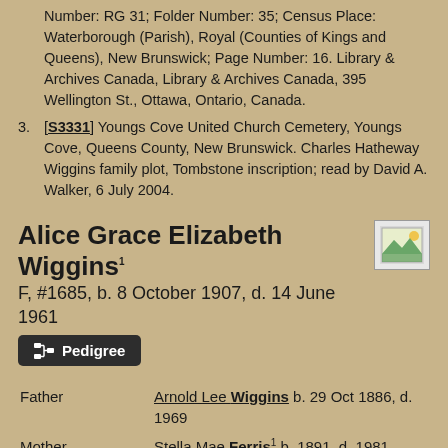Number: RG 31; Folder Number: 35; Census Place: Waterborough (Parish), Royal (Counties of Kings and Queens), New Brunswick; Page Number: 16. Library & Archives Canada, Library & Archives Canada, 395 Wellington St., Ottawa, Ontario, Canada.
[S3331] Youngs Cove United Church Cemetery, Youngs Cove, Queens County, New Brunswick. Charles Hatheway Wiggins family plot, Tombstone inscription; read by David A. Walker, 6 July 2004.
Alice Grace Elizabeth Wiggins
F, #1685, b. 8 October 1907, d. 14 June 1961
Pedigree
| Field | Value |
| --- | --- |
| Father | Arnold Lee Wiggins b. 29 Oct 1886, d. 1969 |
| Mother | Stella Mae Ferris b. 1891, d. 1981 |
| Relationship | 4th cousin 1 time removed of David Arthur Walker |
| Charts | Descendants of John Cory & Agnis Wauker
Descendants of John Drake & |